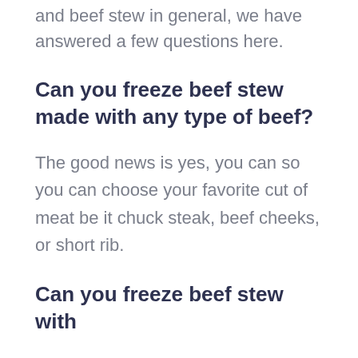and beef stew in general, we have answered a few questions here.
Can you freeze beef stew made with any type of beef?
The good news is yes, you can so you can choose your favorite cut of meat be it chuck steak, beef cheeks, or short rib.
Can you freeze beef stew with